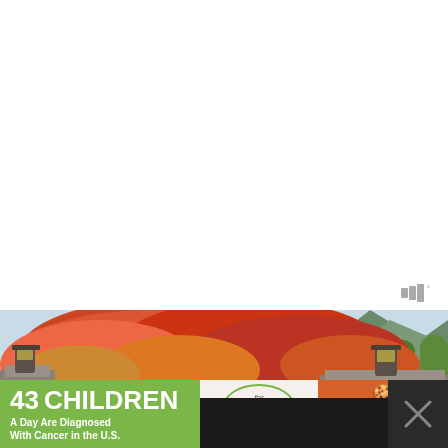[Figure (photo): Autumn scene with red and orange maple trees next to stone pillars/gate structures with mountains visible in background]
[Figure (infographic): Advertisement banner: '43 CHILDREN A Day Are Diagnosed With Cancer in the U.S.' with cookies for kids cancer logo and 'Let's Get Baking' call to action on orange background]